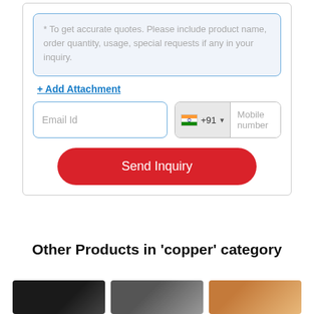* To get accurate quotes. Please include product name, order quantity, usage, special requests if any in your inquiry.
+ Add Attachment
Email Id
+91  Mobile number
Send Inquiry
Other Products in 'copper' category
[Figure (photo): Three product thumbnail images in the copper category]